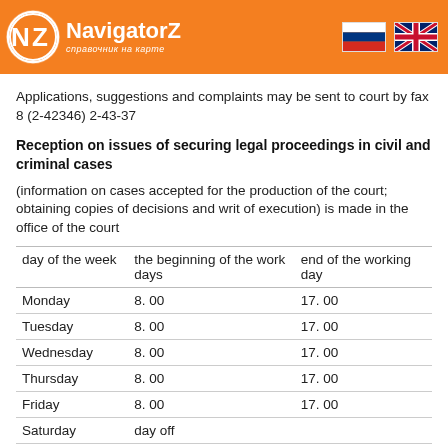NavigatorZ — справочник на карте
Applications, suggestions and complaints may be sent to court by fax 8 (2-42346) 2-43-37
Reception on issues of securing legal proceedings in civil and criminal cases
(information on cases accepted for the production of the court; obtaining copies of decisions and writ of execution) is made in the office of the court
| day of the week | the beginning of the work days | end of the working day |
| --- | --- | --- |
| Monday | 8. 00 | 17. 00 |
| Tuesday | 8. 00 | 17. 00 |
| Wednesday | 8. 00 | 17. 00 |
| Thursday | 8. 00 | 17. 00 |
| Friday | 8. 00 | 17. 00 |
| Saturday | day off |  |
| Sunday | day off |  |